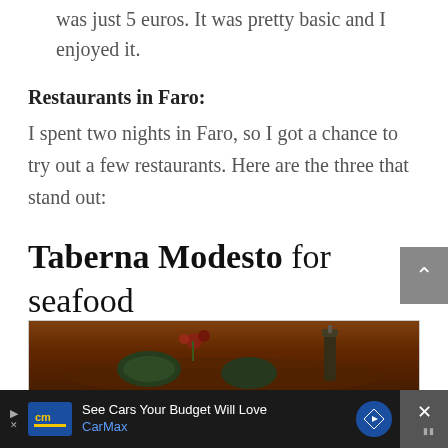was just 5 euros. It was pretty basic and I enjoyed it.
Restaurants in Faro:
I spent two nights in Faro, so I got a chance to try out a few restaurants. Here are the three that stand out:
Taberna Modesto for seafood
[Figure (photo): Photo of a restaurant table setting with dark plates and a wine bottle, warm brown tones]
See Cars Your Budget Will Love CarMax [advertisement]